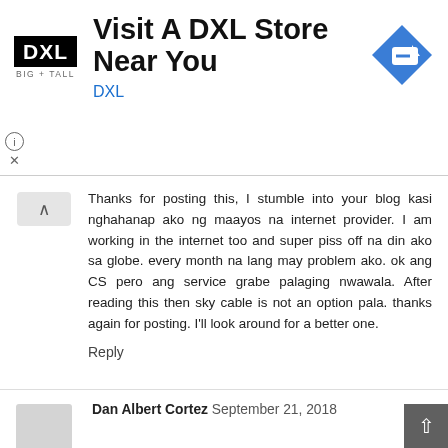[Figure (advertisement): DXL Big+Tall advertisement banner: logo on left, text 'Visit A DXL Store Near You' with 'DXL' link, blue directional sign icon on right]
Thanks for posting this, I stumble into your blog kasi nghahanap ako ng maayos na internet provider. I am working in the internet too and super piss off na din ako sa globe. every month na lang may problem ako. ok ang CS pero ang service grabe palaging nwawala. After reading this then sky cable is not an option pala. thanks again for posting. I'll look around for a better one.
Reply
reigningstill  September 21, 2018
Its not really secluded. Just 2-3minute walk from Sabang Beach. Very near Aliya Beach Resort.
Reply
Dan Albert Cortez  September 21, 2018